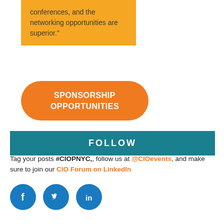conferences, and the networking opportunities are superior."
[Figure (infographic): Orange rounded rectangle button with white bold uppercase text: SPONSORSHIP OPPORTUNITIES]
FOLLOW
Tag your posts #CIOPNYC,, follow us at @CIOevents, and make sure to join our CIO Forum on LinkedIn
[Figure (infographic): Three circular social media icons: Facebook (f), Twitter (bird), LinkedIn (in), all in blue]